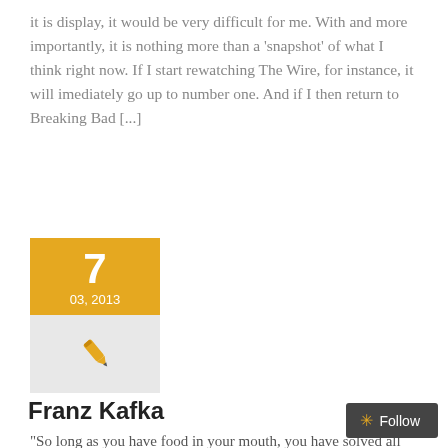it is display, it would be very difficult for me. With and more importantly, it is nothing more than a 'snapshot' of what I think right now. If I start rewatching The Wire, for instance, it will imediately go up to number one. And if I then return to Breaking Bad [...]
[Figure (infographic): Date widget showing day 7, month-year 03, 2013 with orange background and pen icon below on grey background]
Franz Kafka
“So long as you have food in your mouth, you have solved all questions for the time being.”
Follow